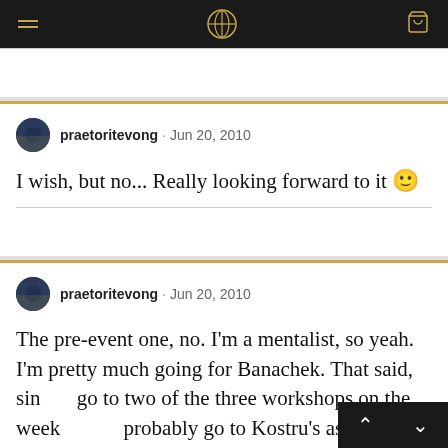praetoritevong
praetoritevong · Jun 20, 2010
I wish, but no... Really looking forward to it 🙂
praetoritevong · Jun 20, 2010
The pre-event one, no. I'm a mentalist, so yeah. I'm pretty much going for Banachek. That said, since I go to two of the three workshops on the week probably go to Kostru's as well as Banachek's